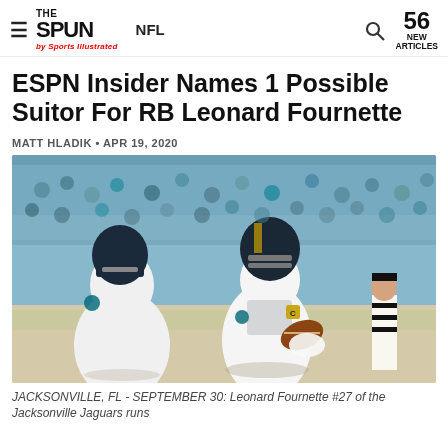THE SPUN by Sports Illustrated | NFL | 56 NEW ARTICLES
ESPN Insider Names 1 Possible Suitor For RB Leonard Fournette
MATT HLADIK • APR 19, 2020
[Figure (photo): Leonard Fournette #27 of the Jacksonville Jaguars runs with the football during an NFL game, wearing a white Jaguars uniform with a captain's patch, with a teammate lineman to his left and crowd in the background.]
JACKSONVILLE, FL - SEPTEMBER 30: Leonard Fournette #27 of the Jacksonville Jaguars runs